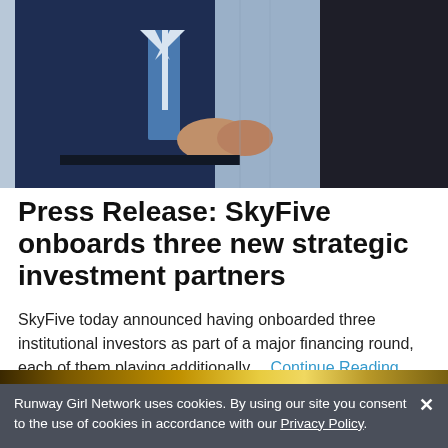[Figure (photo): Two people in dark business suits shaking hands in a bright office or airport setting, seen from the torso down.]
Press Release: SkyFive onboards three new strategic investment partners
SkyFive today announced having onboarded three institutional investors as part of a major financing round, each of them playing additionally… Continue Reading
[Figure (other): Gold gradient banner strip]
Runway Girl Network uses cookies. By using our site you consent to the use of cookies in accordance with our Privacy Policy.